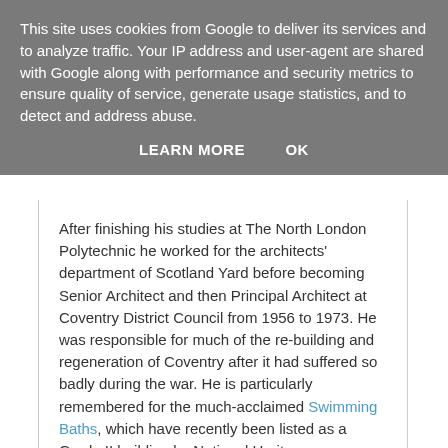This site uses cookies from Google to deliver its services and to analyze traffic. Your IP address and user-agent are shared with Google along with performance and security metrics to ensure quality of service, generate usage statistics, and to detect and address abuse.
LEARN MORE   OK
After finishing his studies at The North London Polytechnic he worked for the architects' department of Scotland Yard before becoming Senior Architect and then Principal Architect at Coventry District Council from 1956 to 1973. He was responsible for much of the re-building and regeneration of Coventry after it had suffered so badly during the war. He is particularly remembered for the much-acclaimed Swimming Baths, which have recently been listed as a Grade II building by National Heritage.